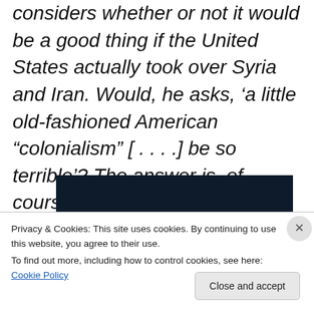considers whether or not it would be a good thing if the United States actually took over Syria and Iran. Would, he asks, ‘a little old-fashioned American “colonialism” [ . . . .] be so terrible’? The answer is, of course, yes.
[Figure (screenshot): Dark navy background with a pink/crimson horizontal bar at bottom-left and a light grey circle at bottom-right, partial view of a webpage or video thumbnail.]
Privacy & Cookies: This site uses cookies. By continuing to use this website, you agree to their use.
To find out more, including how to control cookies, see here: Cookie Policy
Close and accept